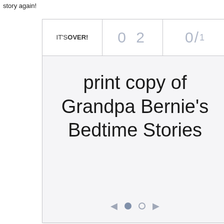story again!
[Figure (screenshot): A card/widget UI element showing a campaign end state. Header row with 'IT'S OVER!' on the left, '02' in the middle, '0/1' on the right. Body shows large text 'print copy of Grandpa Bernie's Bedtime Stories'. Navigation dots (filled and empty circles) with left/right arrows at the bottom.]